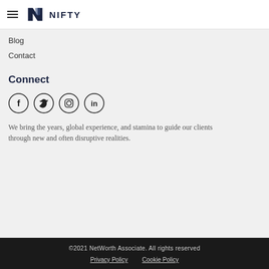NIFTY
Blog
Contact
Connect
[Figure (other): Social media icons: Facebook, Twitter, Instagram, LinkedIn]
We bring the years, global experience, and stamina to guide our clients through new and often disruptive realities.
©2021 NetWorth Associate. All rights reserved
Privacy Policy   Cookie Policy